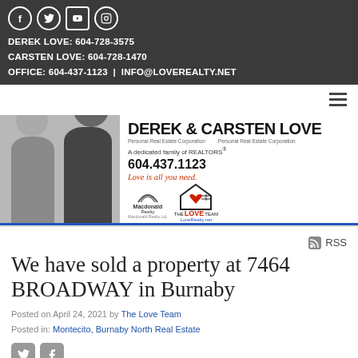DEREK LOVE: 604-728-3575
CARSTEN LOVE: 604-728-1470
OFFICE: 604-437-1123 | INFO@LOVEREALTY.NET
[Figure (photo): Banner with photo of two men in suits (Derek and Carsten Love), the Love Team branding, phone number 604.437.1123, tagline 'Love is all you need.', Macdonald Realty logo, and The Love Team logo with LoveRealty.net]
RSS
We have sold a property at 7464 BROADWAY in Burnaby
Posted on April 24, 2021 by The Love Team
Posted in: Montecito, Burnaby North Real Estate